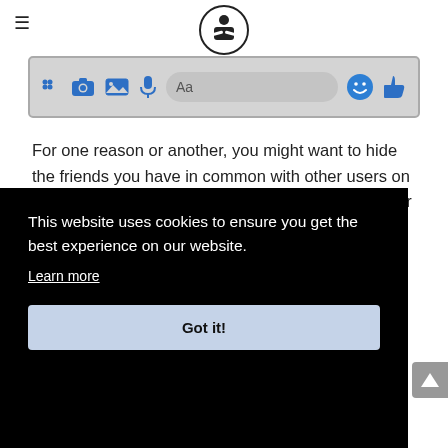[Figure (screenshot): Website header with hamburger menu icon on left, circular logo icon in center]
[Figure (screenshot): Facebook Messenger toolbar showing icons: grid, camera, image, microphone, text input (Aa), emoji, thumbs up]
For one reason or another, you might want to hide the friends you have in common with other users on Facebook. Be aware that you can do this using your Android device. While your entire Friends List can be hidden from anyone, the only way to hide your
This website uses cookies to ensure you get the best experience on our website.
Learn more
Got it!